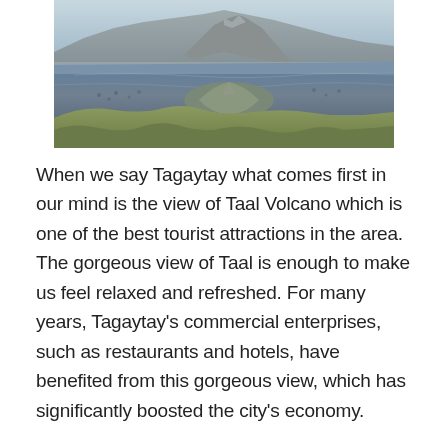[Figure (photo): Aerial view of Taal Volcano and Taal Lake, showing the volcanic island surrounded by water, with misty mountains in the background and some vegetation in the foreground.]
When we say Tagaytay what comes first in our mind is the view of Taal Volcano which is one of the best tourist attractions in the area. The gorgeous view of Taal is enough to make us feel relaxed and refreshed. For many years, Tagaytay's commercial enterprises, such as restaurants and hotels, have benefited from this gorgeous view, which has significantly boosted the city's economy.